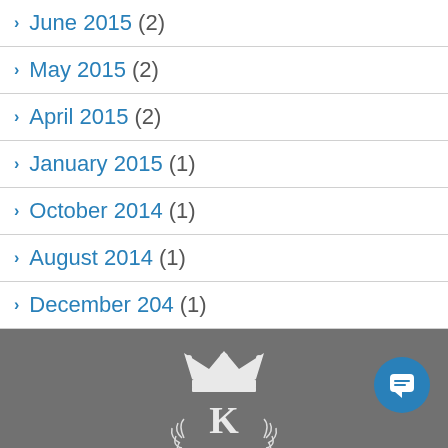June 2015 (2)
May 2015 (2)
April 2015 (2)
January 2015 (1)
October 2014 (1)
August 2014 (1)
December 204 (1)
[Figure (logo): White crown and laurel wreath logo with letter K on grey background footer]